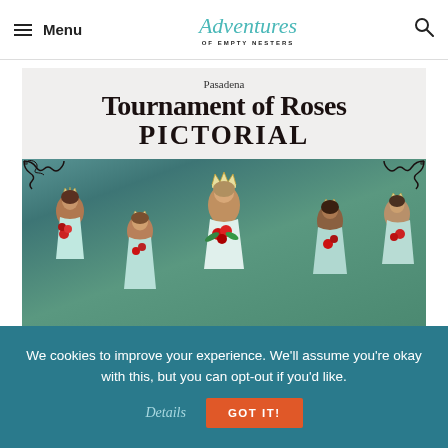Menu | Adventures of Empty Nesters | [search]
[Figure (photo): Cover of the Pasadena Tournament of Roses Pictorial book, showing the title text at top and a group photo of women wearing crowns and tiaras holding red roses, with decorative scroll corners on the photo portion.]
We cookies to improve your experience. We'll assume you're okay with this, but you can opt-out if you'd like. Details GOT IT!